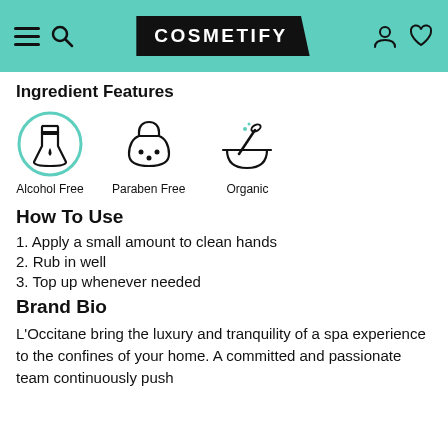COSMETIFY
Ingredient Features
[Figure (illustration): Three icons representing Alcohol Free (flask in circle), Paraben Free (decorative bottle), and Organic (mortar and pestle) ingredient features]
How To Use
1. Apply a small amount to clean hands
2. Rub in well
3. Top up whenever needed
Brand Bio
L'Occitane bring the luxury and tranquility of a spa experience to the confines of your home. A committed and passionate team continuously push the boundaries with innovative, natural beauty...